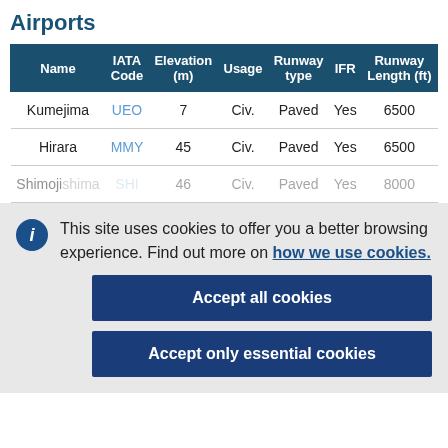Airports
| Name | IATA Code | Elevation (m) | Usage | Runway type | IFR | Runway Length (ft) |
| --- | --- | --- | --- | --- | --- | --- |
| Kumejima | UEO | 7 | Civ. | Paved | Yes | 6500 |
| Hirara | MMY | 45 | Civ. | Paved | Yes | 6500 |
| Shimojishima | SHI | 46 | Civ. | Paved | Yes | 8000 |
This site uses cookies to offer you a better browsing experience. Find out more on how we use cookies.
Accept all cookies
Accept only essential cookies